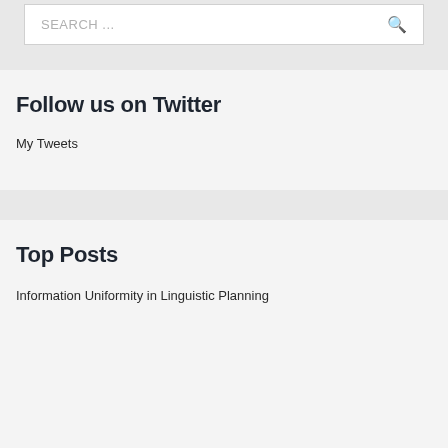SEARCH ...
Follow us on Twitter
My Tweets
Top Posts
Information Uniformity in Linguistic Planning